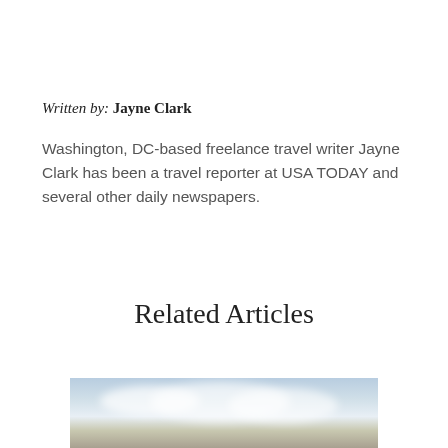Written by: Jayne Clark
Washington, DC-based freelance travel writer Jayne Clark has been a travel reporter at USA TODAY and several other daily newspapers.
Related Articles
[Figure (photo): Sky and clouds photo, partially visible at bottom of page]